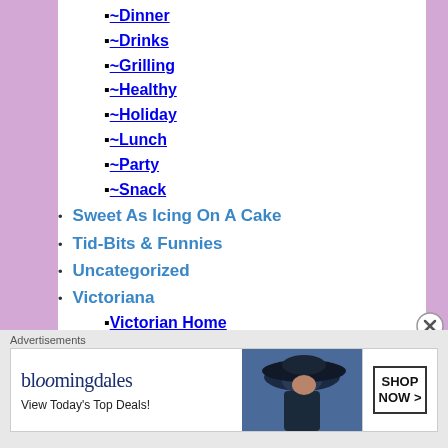~Dinner
~Drinks
~Grilling
~Healthy
~Holiday
~Lunch
~Party
~Snack
Sweet As Icing On A Cake
Tid-Bits & Funnies
Uncategorized
Victoriana
Victorian Home
~Celebrations/Ceremonies
~Clothing/Accessories
~Coulture
~Furniture/Furnishings
Advertisements
[Figure (screenshot): Bloomingdales advertisement banner: 'View Today's Top Deals!' with SHOP NOW button and woman in large hat]